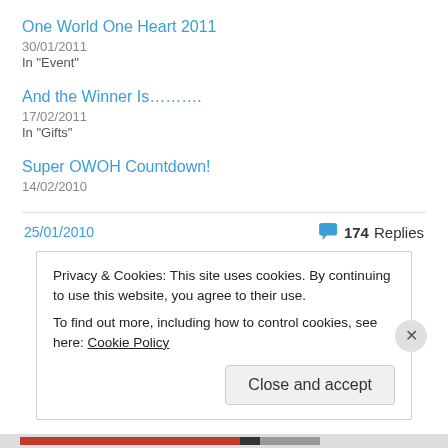One World One Heart 2011
30/01/2011
In "Event"
And the Winner Is……….
17/02/2011
In "Gifts"
Super OWOH Countdown!
14/02/2010
25/01/2010
174 Replies
Privacy & Cookies: This site uses cookies. By continuing to use this website, you agree to their use.
To find out more, including how to control cookies, see here: Cookie Policy
Close and accept